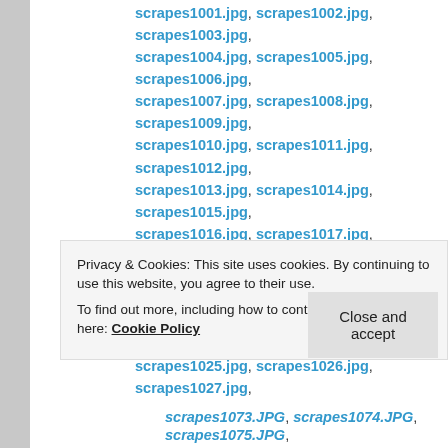scrapes1001.jpg, scrapes1002.jpg, scrapes1003.jpg, scrapes1004.jpg, scrapes1005.jpg, scrapes1006.jpg, scrapes1007.jpg, scrapes1008.jpg, scrapes1009.jpg, scrapes1010.jpg, scrapes1011.jpg, scrapes1012.jpg, scrapes1013.jpg, scrapes1014.jpg, scrapes1015.jpg, scrapes1016.jpg, scrapes1017.jpg, scrapes1018.jpg, scrapes1019.jpg, scrapes1020.jpg, scrapes1021.jpg, scrapes1022.jpg, scrapes1023.jpg, scrapes1024.jpg, scrapes1025.jpg, scrapes1026.jpg, scrapes1027.jpg, scrapes1028.jpg, scrapes1029.jpg, scrapes1030.jpg, scrapes1031.jpg, scrapes1032.jpg, scrapes1033.jpg, scrapes1034.jpg, scrapes1035.jpg, scrapes1036.jpg, scrapes1037.jpg, scrapes1038.jpg, scrapes1039.jpg, scrapes1040.jpg, scrapes1041.jpg, scrapes1042.jpg, scrapes1043.jpg, scrapes1044.jpg, scrapes1045.jpg, scrapes1046.jpg, scrapes1047.jpg, scrapes1048.jpg, scrapes1049.jpg, scrapes1050.jpg, scrapes1051.jpg
Privacy & Cookies: This site uses cookies. By continuing to use this website, you agree to their use. To find out more, including how to control cookies, see here: Cookie Policy
Close and accept
scrapes1073.JPG, scrapes1074.JPG, scrapes1075.JPG,